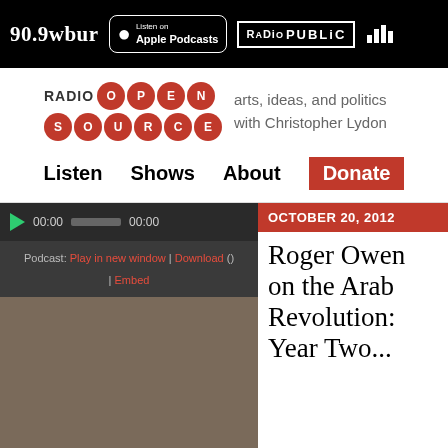90.9wbur | Listen on Apple Podcasts | RADIO PUBLIC
[Figure (logo): Radio Open Source logo with red circles spelling OPEN SOURCE, tagline: arts, ideas, and politics with Christopher Lydon]
Listen   Shows   About   Donate
[Figure (screenshot): Audio player with play button, 00:00 time display, progress bar. Podcast: Play in new window | Download () | Embed]
OCTOBER 20, 2012
Roger Owen on the Arab Revolution: Year Two...